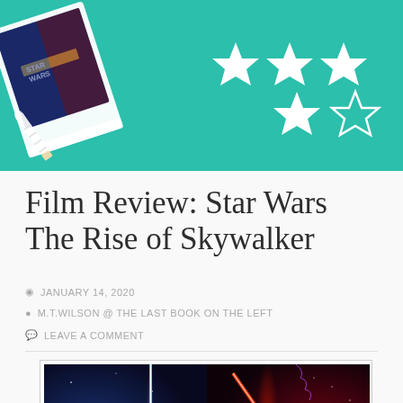[Figure (illustration): Teal/turquoise header banner with a Star Wars movie ticket tilted at an angle on the left, four filled stars and one empty star rating on the right, and a pencil icon on the lower left.]
Film Review: Star Wars The Rise of Skywalker
JANUARY 14, 2020
M.T.WILSON @ THE LAST BOOK ON THE LEFT
LEAVE A COMMENT
[Figure (photo): Movie promotional image for Star Wars The Rise of Skywalker showing two crossed lightsabers — blue and red — against a dark space background with dramatic lighting.]